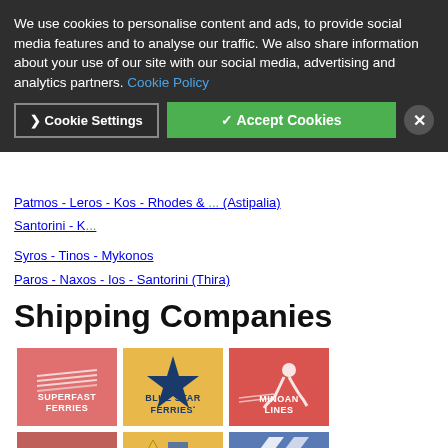We use cookies to personalise content and ads, to provide social media features and to analyse our traffic. We also share information about your use of our site with our social media, advertising and analytics partners. Cookie Policy
Cookie Settings | ✓ Accept Cookies | ✕
Patmos - Leros - Kos - Rhodes & ... (Astipalia)
Santorini - K...
Syros - Tinos - Mykonos
Paros - Naxos - Ios - Santorini (Thira)
Shipping Companies
[Figure (logo): Superfast Ferries logo - salmon/red background with stylized wave lines and text SUPERFAST FERRIES]
[Figure (logo): Blue Star Ferries logo - yellow/golden background with dark blue star and text Blue Star Ferries]
[Figure (logo): Minoan Lines logo - red/salmon background with stylized figure and text MINOAN LINES]
[Figure (logo): Hellenic Seaways logo - salmon/dark red background with stylized bird and text HELLENIC SEAWAYS]
[Figure (logo): Partial logo bottom left - yellow background with stylized yellow/blue shapes]
[Figure (logo): Partial logo bottom center - blue/steel background with diagonal stripe shapes]
[Figure (logo): Partial logo bottom right - red/salmon background with star shape]